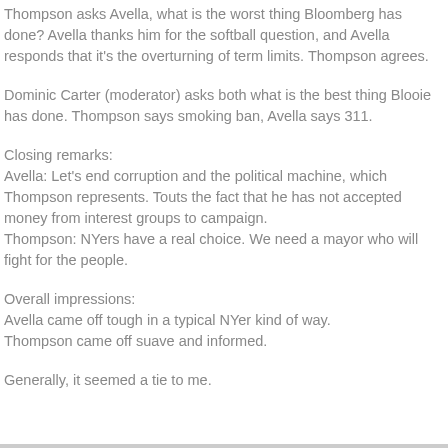Thompson asks Avella, what is the worst thing Bloomberg has done? Avella thanks him for the softball question, and Avella responds that it's the overturning of term limits. Thompson agrees.
Dominic Carter (moderator) asks both what is the best thing Blooie has done. Thompson says smoking ban, Avella says 311.
Closing remarks:
Avella: Let's end corruption and the political machine, which Thompson represents. Touts the fact that he has not accepted money from interest groups to campaign.
Thompson: NYers have a real choice. We need a mayor who will fight for the people.
Overall impressions:
Avella came off tough in a typical NYer kind of way.
Thompson came off suave and informed.
Generally, it seemed a tie to me.